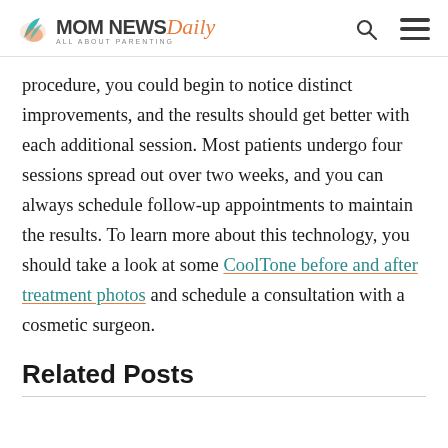MOM NEWS Daily — ALL ABOUT PARENTING
procedure, you could begin to notice distinct improvements, and the results should get better with each additional session. Most patients undergo four sessions spread out over two weeks, and you can always schedule follow-up appointments to maintain the results. To learn more about this technology, you should take a look at some CoolTone before and after treatment photos and schedule a consultation with a cosmetic surgeon.
Related Posts